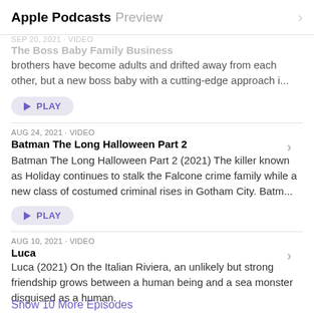Apple Podcasts Preview
SEP 20, 2021 · video
The Boss Baby Family Business
brothers have become adults and drifted away from each other, but a new boss baby with a cutting-edge approach i...
PLAY
AUG 24, 2021 · video
Batman The Long Halloween Part 2
Batman The Long Halloween Part 2 (2021) The killer known as Holiday continues to stalk the Falcone crime family while a new class of costumed criminal rises in Gotham City. Batm...
PLAY
AUG 10, 2021 · video
Luca
Luca (2021) On the Italian Riviera, an unlikely but strong friendship grows between a human being and a sea monster disguised as a human.
PLAY
Show 10 More Episodes